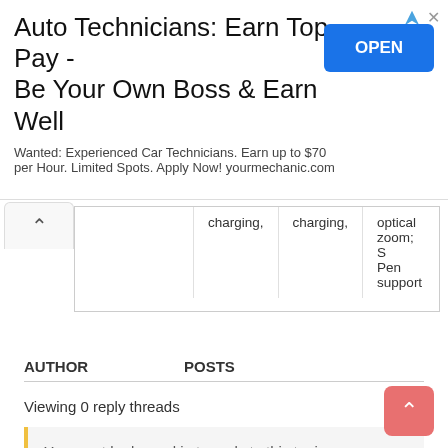[Figure (screenshot): Advertisement banner: 'Auto Technicians: Earn Top Pay - Be Your Own Boss & Earn Well'. Wanted: Experienced Car Technicians. Earn up to $70 per Hour. Limited Spots. Apply Now! yourmechanic.com. Blue OPEN button on the right.]
|  | charging, | charging, | optical zoom; S Pen support |
| --- | --- | --- | --- |
AUTHOR   POSTS
Viewing 0 reply threads
You must be logged in to reply to this topic.
Username:
Password: